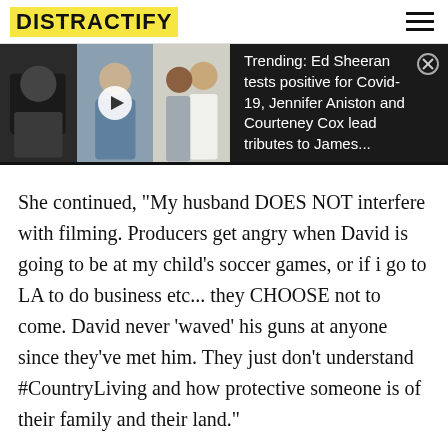DISTRACTIFY
[Figure (screenshot): Trending banner with three celebrity photos on left and trending text on dark background on right: 'Trending: Ed Sheeran tests positive for Covid-19, Jennifer Aniston and Courteney Cox lead tributes to James...']
She continued, "My husband DOES NOT interfere with filming. Producers get angry when David is going to be at my child's soccer games, or if i go to LA to do business etc... they CHOOSE not to come. David never 'waved' his guns at anyone since they've met him. They just don't understand #CountryLiving and how protective someone is of their family and their land."